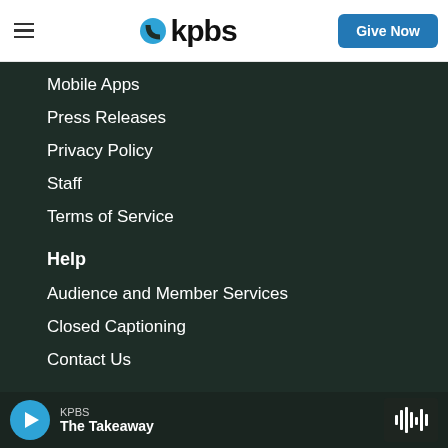KPBS — Give Now
Mobile Apps
Press Releases
Privacy Policy
Staff
Terms of Service
Help
Audience and Member Services
Closed Captioning
Contact Us
KPBS — The Takeaway